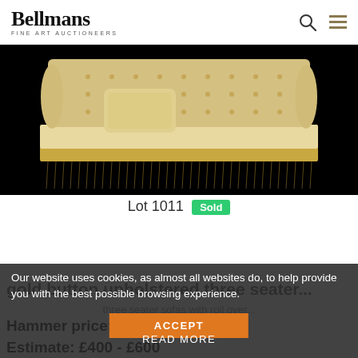Bellmans Fine Art Auctioneers
[Figure (photo): Cream/gold button-upholstered three seater sofa with rolled arms, tufted back, and gold fringe trim, on black background]
Lot 1011 Sold
Lewis Mittman, a pair of 20th century gold button upholstered three seater...
Our website uses cookies, as almost all websites do, to help provide you with the best possible browsing experience.
three seater sofas with roll over...
ACCEPT
Hammer price: £1,550
READ MORE
Estimate: £400 - £600